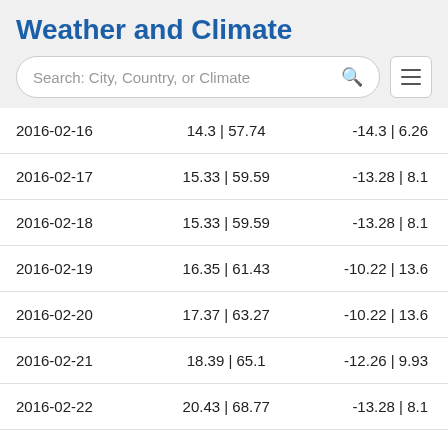Weather and Climate
[Figure (other): Search bar with placeholder text 'Search: City, Country, or Climate' and a hamburger menu icon]
| 2016-02-16 | 14.3 | 57.74 | -14.3 | 6.26 |
| 2016-02-17 | 15.33 | 59.59 | -13.28 | 8.1 |
| 2016-02-18 | 15.33 | 59.59 | -13.28 | 8.1 |
| 2016-02-19 | 16.35 | 61.43 | -10.22 | 13.6 |
| 2016-02-20 | 17.37 | 63.27 | -10.22 | 13.6 |
| 2016-02-21 | 18.39 | 65.1 | -12.26 | 9.93 |
| 2016-02-22 | 20.43 | 68.77 | -13.28 | 8.1 |